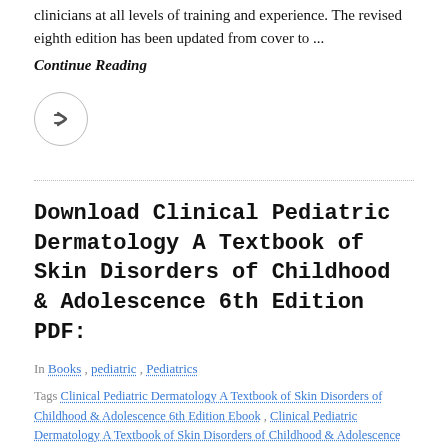clinicians at all levels of training and experience. The revised eighth edition has been updated from cover to ...
Continue Reading
[Figure (other): Share/forward button icon inside a circle]
Download Clinical Pediatric Dermatology A Textbook of Skin Disorders of Childhood & Adolescence 6th Edition PDF:
In Books, pediatric, Pediatrics
Tags Clinical Pediatric Dermatology A Textbook of Skin Disorders of Childhood & Adolescence 6th Edition Ebook, Clinical Pediatric Dermatology A Textbook of Skin Disorders of Childhood & Adolescence